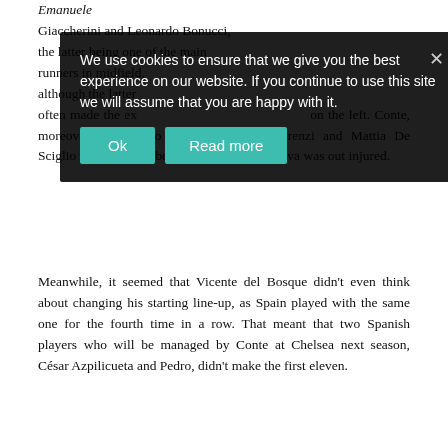Emanuele Giaccherini and Leonardo Bonucci, the latter being one of the main runners in midfield, although the latter often made the excursion into attack on the left. Conte, moreover, decided to play Alessandro Florenzi and Mattia De Sciglio on the wings, because Antonio Candreva was out injured.
We use cookies to ensure that we give you the best experience on our website. If you continue to use this site we will assume that you are happy with it.
Meanwhile, it seemed that Vicente del Bosque didn't even think about changing his starting line-up, as Spain played with the same one for the fourth time in a row. That meant that two Spanish players who will be managed by Conte at Chelsea next season, César Azpilicueta and Pedro, didn't make the first eleven.
Instead, it was business as usual. Jordi Alba and Juanfran bombed up and down the flanks. Andrés Iniesta and Cesc Fàbregas roamed through the half-spaces, with Sergio Busquets covering them as well as being pivotal to the Spanish build-up play. Up front, Álvaro Morata once again was the target player, flanked by Nolito and David Silva, with the latter being a somewhat additional midfielder in Del Bosque's system.